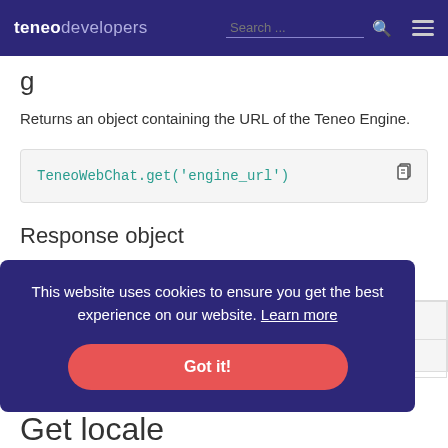teneo developers | Search ...
g
Returns an object containing the URL of the Teneo Engine.
TeneoWebChat.get('engine_url')
Response object
This website uses cookies to ensure you get the best experience on our website. Learn more Got it!
Get locale